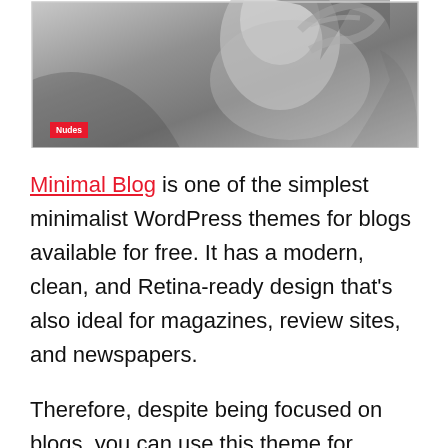[Figure (photo): Black and white photograph of a person, cropped at top of page, with a small red 'Nudes' label badge in lower left area of the photo]
Minimal Blog is one of the simplest minimalist WordPress themes for blogs available for free. It has a modern, clean, and Retina-ready design that's also ideal for magazines, review sites, and newspapers.
Therefore, despite being focused on blogs, you can use this theme for multiple purposes. Such as business or non-profit websites. And it offers customization options to make it possible.